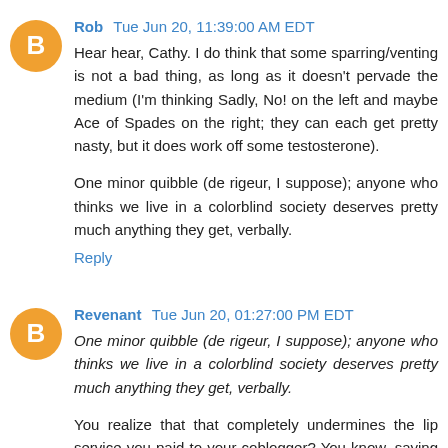Rob Tue Jun 20, 11:39:00 AM EDT
Hear hear, Cathy. I do think that some sparring/venting is not a bad thing, as long as it doesn't pervade the medium (I'm thinking Sadly, No! on the left and maybe Ace of Spades on the right; they can each get pretty nasty, but it does work off some testosterone).
One minor quibble (de rigeur, I suppose); anyone who thinks we live in a colorblind society deserves pretty much anything they get, verbally.
Reply
Revenant Tue Jun 20, 01:27:00 PM EDT
One minor quibble (de rigeur, I suppose); anyone who thinks we live in a colorblind society deserves pretty much anything they get, verbally.
You realize that that completely undermines the lip service you paid to your coblogger? You know, saying that opinions...